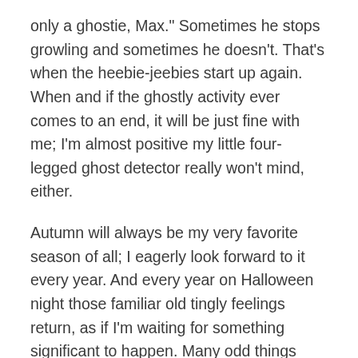only a ghostie, Max." Sometimes he stops growling and sometimes he doesn't. That's when the heebie-jeebies start up again. When and if the ghostly activity ever comes to an end, it will be just fine with me; I'm almost positive my little four-legged ghost detector really won't mind, either.
Autumn will always be my very favorite season of all; I eagerly look forward to it every year. And every year on Halloween night those familiar old tingly feelings return, as if I'm waiting for something significant to happen. Many odd things have over the years, but I doubt anything will ever top the frightening night when those yowling alley cats stalked me, scaring me out of my wits.